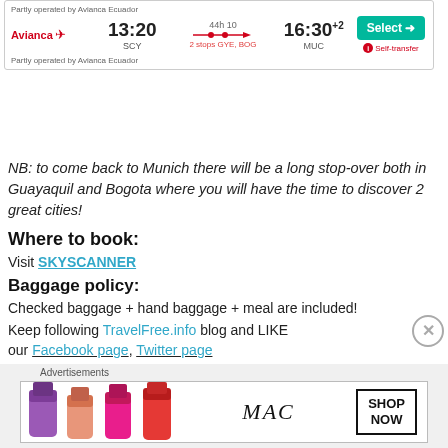[Figure (screenshot): Flight booking card showing Avianca flight from SCY at 13:20 to MUC at 16:30+2, 44h 10min, 2 stops GYE BOG, with Select button and Self-transfer notice. Partly operated by Avianca Ecuador.]
NB: to come back to Munich there will be a long stop-over both in Guayaquil and Bogota where you will have the time to discover 2 great cities!
Where to book:
Visit SKYSCANNER
Baggage policy:
Checked baggage + hand baggage + meal are included!
Keep following TravelFree.info blog and LIKE our Facebook page, Twitter page
Advertisements
[Figure (photo): MAC cosmetics advertisement banner showing lipsticks in purple, pink, and red colors with MAC logo and SHOP NOW box.]